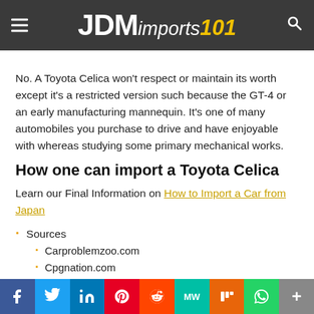JDMimports101
No. A Toyota Celica won't respect or maintain its worth except it's a restricted version such because the GT-4 or an early manufacturing mannequin. It's one of many automobiles you purchase to drive and have enjoyable with whereas studying some primary mechanical works.
How one can import a Toyota Celica
Learn our Final Information on How to Import a Car from Japan
Sources
Carproblemzoo.com
Cpgnation.com
Celicahobby.com
ToyotaCelicas.com
Social share bar: Facebook, Twitter, LinkedIn, Pinterest, Reddit, MeWe, Mix, WhatsApp, More